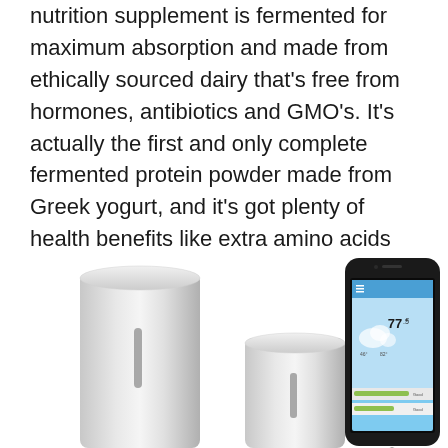nutrition supplement is fermented for maximum absorption and made from ethically sourced dairy that's free from hormones, antibiotics and GMO's. It's actually the first and only complete fermented protein powder made from Greek yogurt, and it's got plenty of health benefits like extra amino acids and way higher calcium content than whey protein. Pick up a tub – or some bars – and treat mom to a creamy, healthy protein powder she'll love to mix into her daily smoothie!
[Figure (photo): Two silver cylindrical devices (tall and short) on the left side, and an iPhone showing a weather app with 77.5 degrees temperature on the right side.]